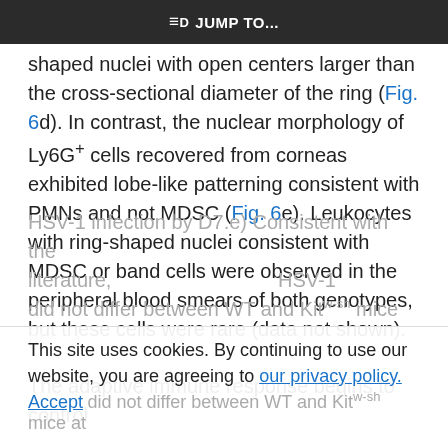≡D JUMP TO...
shaped nuclei with open centers larger than the cross-sectional diameter of the ring (Fig. 6d). In contrast, the nuclear morphology of Ly6G+ cells recovered from corneas exhibited lobe-like patterning consistent with PMNs and not MDSC (Fig. 6e). Leukocytes with ring-shaped nuclei consistent with MDSC or band cells were observed in the peripheral blood smears of both genotypes, but these cells were rare (data not shown).
The adaptive immune response begins to control HSV-1 infection by D7.e) Consistent with the literature, you are agreeing to our privacy policy. HSV-1 did not differ between WT and Kit w-sh mice at D7 e), the memory T cells in the Fig...
This site uses cookies. By continuing to use our website, you are agreeing to our privacy policy. Accept